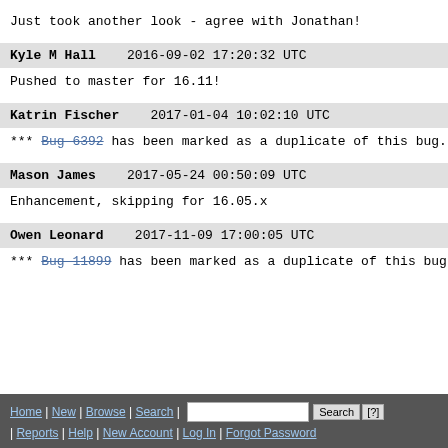Just took another look - agree with Jonathan!
Kyle M Hall    2016-09-02 17:20:32 UTC
Pushed to master for 16.11!
Katrin Fischer    2017-01-04 10:02:10 UTC
*** Bug 6392 has been marked as a duplicate of this bug.
Mason James    2017-05-24 00:50:09 UTC
Enhancement, skipping for 16.05.x
Owen Leonard    2017-11-09 17:00:05 UTC
*** Bug 11899 has been marked as a duplicate of this bug
Home | New | Browse | Search | [Search box] [Search] [?] | Reports | Help | New Account | Log In | Forgot Password